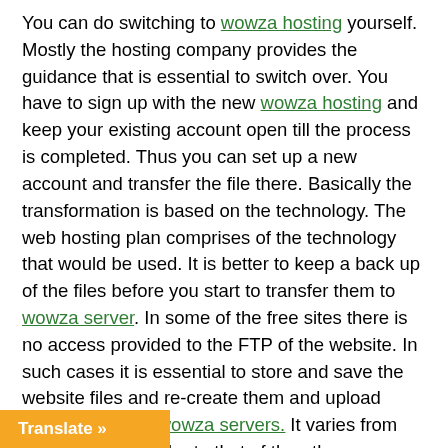You can do switching to wowza hosting yourself. Mostly the hosting company provides the guidance that is essential to switch over. You have to sign up with the new wowza hosting and keep your existing account open till the process is completed. Thus you can set up a new account and transfer the file there. Basically the transformation is based on the technology. The web hosting plan comprises of the technology that would be used. It is better to keep a back up of the files before you start to transfer them to wowza server. In some of the free sites there is no access provided to the FTP of the website. In such cases it is essential to store and save the website files and re-create them and upload them in the new wowza servers. It varies from one service provider to that of the other. Therefore you have to check for the FTP access that is provided by the wowza hosting and wowza server. At any point of time when you switch from free to wowza hosting company as well, it is crucial to check if they provide access to the FTP. It makes your work easier and simpler at any point of time. While switching over wowza hosting it is essential to